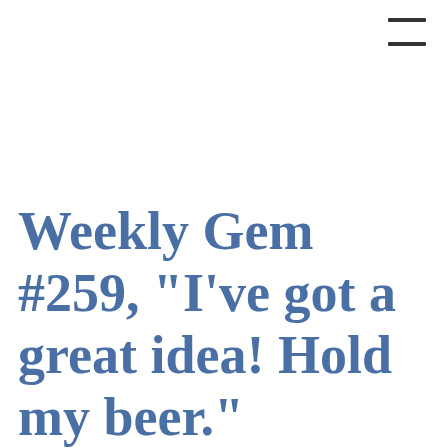[Figure (other): Hamburger menu icon (three horizontal lines) in top-right corner]
Weekly Gem #259, "I've got a great idea! Hold my beer."